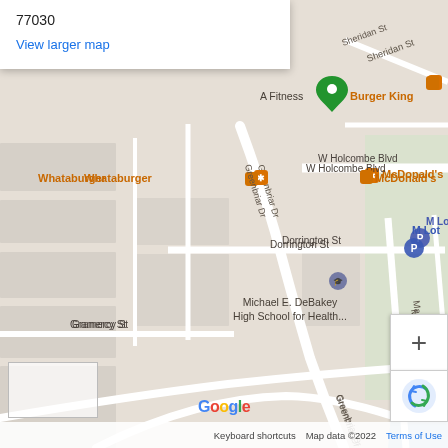[Figure (map): Google Maps screenshot showing 2222 Maroneal St, Houston, TX 77030. The map shows streets including Greenbriar Dr, Maroneal St, Blue Bonnet Blvd, W Holcombe Blvd, Main St, Dorrington St, Gramercy St, and Sheridan St. Nearby points of interest include Whataburger, McDonald's, Burger King, A Fitness, Michael E. DeBakey High School for Health, Fondren Orthopedic Group, and M Lot parking. A red location pin marks 2222 Maroneal St, Houston, TX 77030.]
77030
View larger map
Keyboard shortcuts   Map data ©2022   Terms of Use